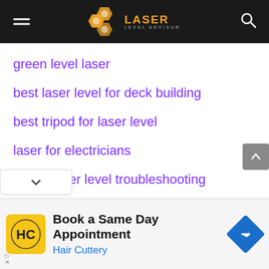[Figure (logo): Laser Level Advisor website header with hamburger menu, orange hexagon logo, and search icon on black background]
green level laser
best laser level for deck building
best tripod for laser level
laser for electricians
bosch laser level troubleshooting
[Figure (infographic): Advertisement banner: Book a Same Day Appointment - Hair Cuttery, with HC logo and blue diamond arrow icon]